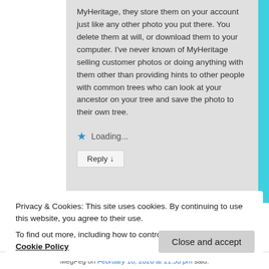MyHeritage, they store them on your account just like any other photo you put there. You delete them at will, or download them to your computer. I've never known of MyHeritage selling customer photos or doing anything with them other than providing hints to other people with common trees who can look at your ancestor on your tree and save the photo to their own tree.
Loading...
Reply ↓
Privacy & Cookies: This site uses cookies. By continuing to use this website, you agree to their use.
To find out more, including how to control cookies, see here: Cookie Policy
Close and accept
MegPeg on February 18, 2020 at 11:30 pm said: